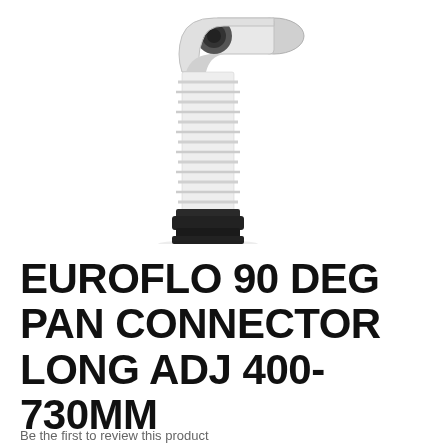[Figure (photo): White plastic 90-degree WC pan connector with adjustable accordion/bellows flexible tube and black rubber ring seal at the bottom. The elbow fitting is shown at the top with a grey rubber gasket visible.]
EUROFLO 90 DEG PAN CONNECTOR LONG ADJ 400-730MM
Be the first to review this product